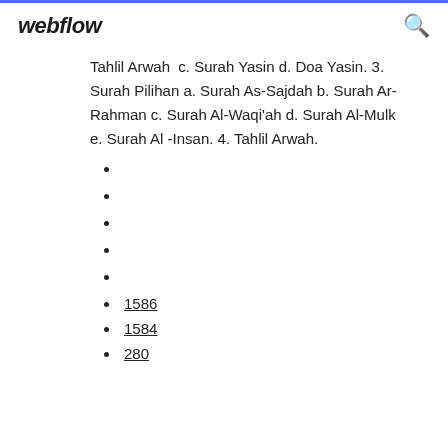webflow
Tahlil Arwah  c. Surah Yasin d. Doa Yasin. 3. Surah Pilihan a. Surah As-Sajdah b. Surah Ar-Rahman c. Surah Al-Waqi'ah d. Surah Al-Mulk e. Surah Al -Insan. 4. Tahlil Arwah.
1586
1584
280